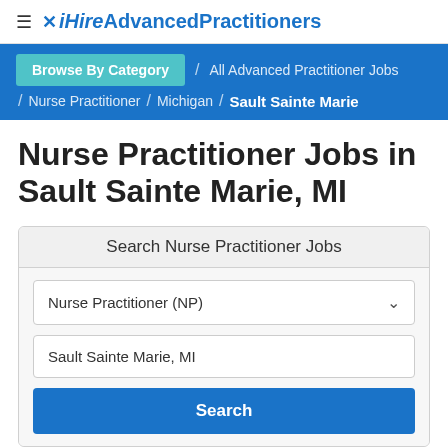≡ ✕iHireAdvancedPractitioners
Browse By Category / All Advanced Practitioner Jobs / Nurse Practitioner / Michigan / Sault Sainte Marie
Nurse Practitioner Jobs in Sault Sainte Marie, MI
Search Nurse Practitioner Jobs
Nurse Practitioner (NP)
Sault Sainte Marie, MI
Search